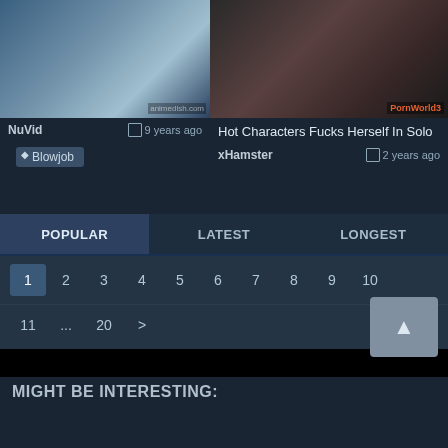[Figure (screenshot): Anime thumbnail - cartoon character in school uniform]
[Figure (screenshot): Dark-toned close-up photo of a person]
NuVid    9 years ago
Hot Characters Fucks Herself In Solo
xHamster    2 years ago
Blowjob
POPULAR   LATEST   LONGEST
1  2  3  4  5  6  7  8  9  10
11  ...  20  >
MIGHT BE INTERESTING: